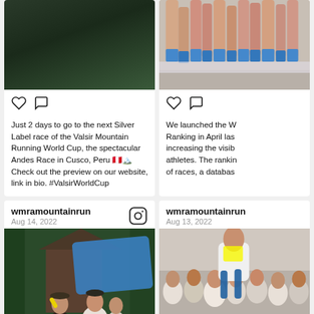[Figure (photo): Social media post card with dark green/forest photo at top, heart and comment icons, and text caption about Silver Label race]
Just 2 days to go to the next Silver Label race of the Valsir Mountain Running World Cup, the spectacular Andes Race in Cusco, Peru 🇵🇪🏔️ Check out the preview on our website, link in bio. #ValsirWorldCup
[Figure (photo): Partial social media post card with photo of runners' legs at starting line, heart and comment icons, and partial text about W Ranking launched in April]
We launched the W Ranking in April las increasing the visib athletes. The rankin of races, a databas
[Figure (photo): Social media post card with username wmramountainrun, date Aug 14 2022, Instagram icon, and photo of people at a race aid station with blue tarp in background]
wmramountainrun
Aug 14, 2022
[Figure (photo): Partial social media post card with username wmramountainrun, date Aug 13 2022, and photo of crowd/spectators with athlete in foreground]
wmramountainrun
Aug 13, 2022